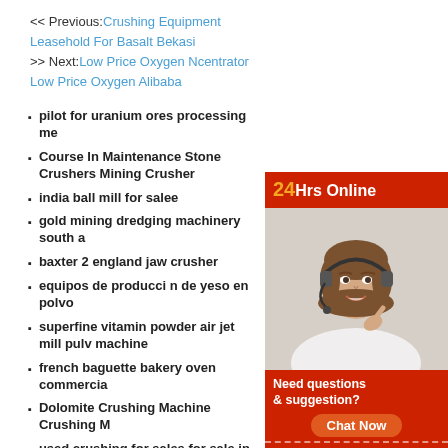<< Previous: Crushing Equipment Leasehold For Basalt Bekasi
>> Next: Low Price Oxygen Ncentrator Low Price Oxygen Alibaba
pilot for uranium ores processing me
Course In Maintenance Stone Crushers Mining Crusher
india ball mill for salee
gold mining dredging machinery south a
baxter 2 england jaw crusher
equipos de producci n de yeso en polvo
superfine vitamin powder air jet mill pulv machine
french baguette bakery oven commercia
Dolomite Crushing Machine Crushing M
used crushing for sales for sale in india
ore boron quality
high performance concrete with robo sa
Perawatan Mesin Stone Crusher Bahrain
Produsen Pengisi Daya Bola
[Figure (photo): Customer service representative wearing headset, with '24Hrs Online' header, 'Need questions & suggestion?', 'Chat Now' button, 'Enquiry' and 'limingjlmofen' sections on red background]